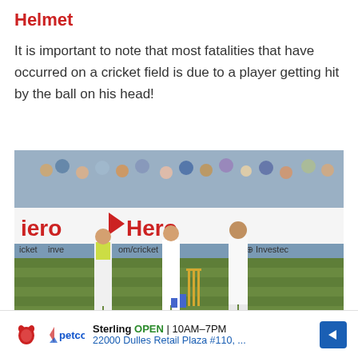Helmet
It is important to note that most fatalities that have occurred on a cricket field is due to a player getting hit by the ball on his head!
[Figure (photo): Cricket players on a field, with advertising hoardings showing 'Hero' and 'Investec' branding. Three players in white cricket gear are visible near the wickets, with a crowd in the background.]
Sterling OPEN | 10AM–7PM 22000 Dulles Retail Plaza #110, ...